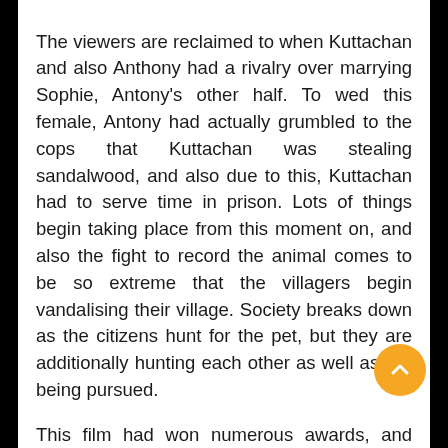The viewers are reclaimed to when Kuttachan and also Anthony had a rivalry over marrying Sophie, Antony's other half. To wed this female, Antony had actually grumbled to the cops that Kuttachan was stealing sandalwood, and also due to this, Kuttachan had to serve time in prison. Lots of things begin taking place from this moment on, and also the fight to record the animal comes to be so extreme that the villagers begin vandalising their village. Society breaks down as the citizens hunt for the pet, but they are additionally hunting each other as well as are being pursued.
This film had won numerous awards, and also it likewise premiered at the 2019 Toronto International Movie Celebration. The movie had made several worldwide honors and also had obtained an entry for the 93rd Academy Awards. So if you are trying to find some Telugu brand-new films watch online